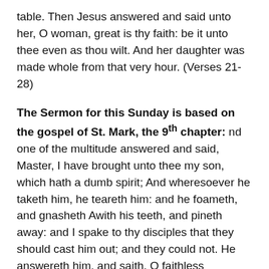table. Then Jesus answered and said unto her, O woman, great is thy faith: be it unto thee even as thou wilt. And her daughter was made whole from that very hour. (Verses 21-28)
The Sermon for this Sunday is based on the gospel of St. Mark, the 9th chapter: nd one of the multitude answered and said, Master, I have brought unto thee my son, which hath a dumb spirit; And wheresoever he taketh him, he teareth him: and he foameth, and gnasheth Awith his teeth, and pineth away: and I spake to thy disciples that they should cast him out; and they could not. He answereth him, and saith, O faithless generation, how long shall I be with you? how long shall I suffer you? bring him unto me. And they brought him unto him: and when he saw him, straightway the spirit tare him; and he fell on the ground, and wallowed foaming. And he asked his father,